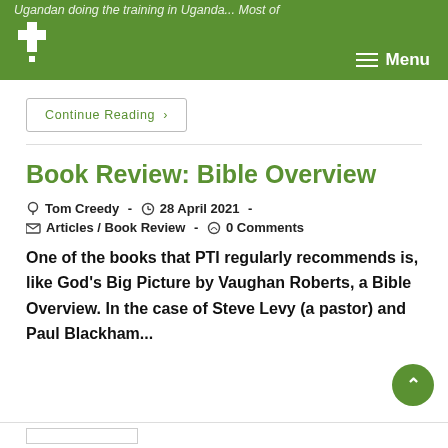Ugandan doing the training in Uganda...Most of
[Figure (logo): PTI logo — white cross with letter P on green background]
Menu
Continue Reading ›
Book Review: Bible Overview
Tom Creedy  -  28 April 2021 -
Articles / Book Review  -  0 Comments
One of the books that PTI regularly recommends is, like God's Big Picture by Vaughan Roberts, a Bible Overview. In the case of Steve Levy (a pastor) and Paul Blackham...